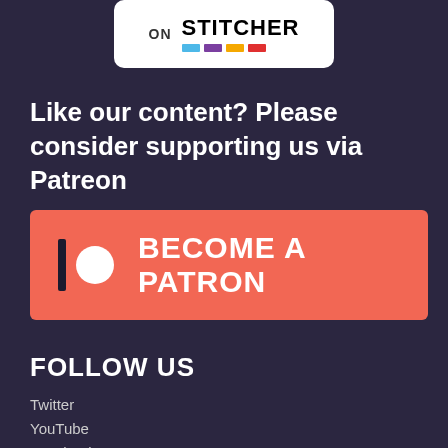[Figure (logo): Stitcher podcast platform badge — white rounded rectangle with 'ON STITCHER' text and colored bars logo]
Like our content? Please consider supporting us via Patreon
[Figure (other): Patreon 'Become a Patron' button — orange/salmon rectangle with Patreon logo (vertical bar + circle) and text 'BECOME A PATRON']
FOLLOW US
Twitter
YouTube
Facebook